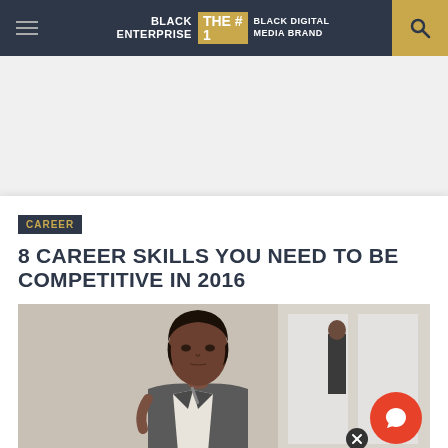BLACK ENTERPRISE — THE #1 BLACK DIGITAL MEDIA BRAND
CAREER
8 CAREER SKILLS YOU NEED TO BE COMPETITIVE IN 2016
[Figure (photo): Professional Black woman in business attire looking contemplatively to the side, holding a pen, with blurred office background and a man in the background.]